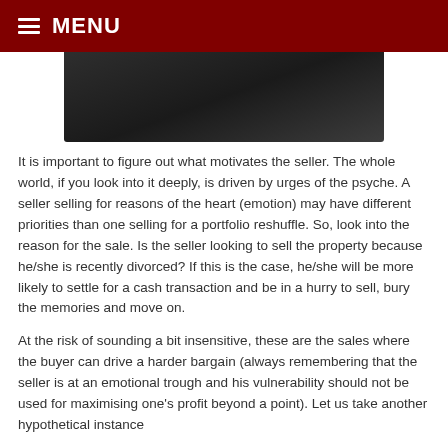MENU
[Figure (photo): Dark gradient rectangular image, partially visible at top of page]
It is important to figure out what motivates the seller. The whole world, if you look into it deeply, is driven by urges of the psyche. A seller selling for reasons of the heart (emotion) may have different priorities than one selling for a portfolio reshuffle. So, look into the reason for the sale. Is the seller looking to sell the property because he/she is recently divorced? If this is the case, he/she will be more likely to settle for a cash transaction and be in a hurry to sell, bury the memories and move on.
At the risk of sounding a bit insensitive, these are the sales where the buyer can drive a harder bargain (always remembering that the seller is at an emotional trough and his vulnerability should not be used for maximising one's profit beyond a point). Let us take another hypothetical instance